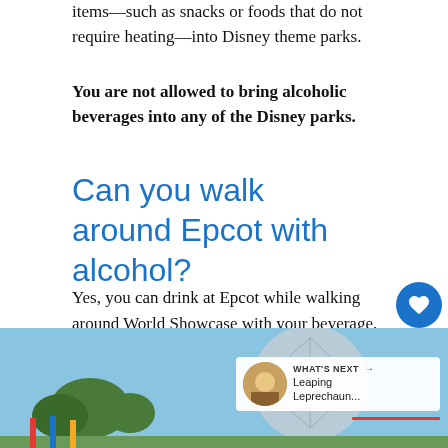items—such as snacks or foods that do not require heating—into Disney theme parks.
You are not allowed to bring alcoholic beverages into any of the Disney parks.
Can you walk around Epcot with alcohol?
Yes, you can drink at Epcot while walking around World Showcase with your beverage.
[Figure (photo): Photo of Epcot's geodesic sphere (Spaceship Earth) structure against a blue sky with trees in the foreground.]
WHAT'S NEXT → Leaping Leprechaun...